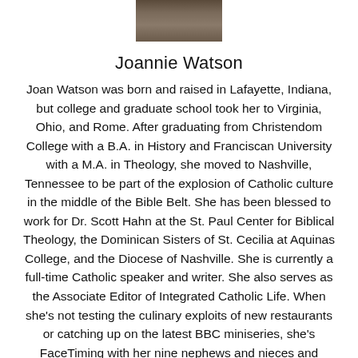[Figure (photo): Headshot photo of Joannie Watson, a woman smiling]
Joannie Watson
Joan Watson was born and raised in Lafayette, Indiana, but college and graduate school took her to Virginia, Ohio, and Rome. After graduating from Christendom College with a B.A. in History and Franciscan University with a M.A. in Theology, she moved to Nashville, Tennessee to be part of the explosion of Catholic culture in the middle of the Bible Belt. She has been blessed to work for Dr. Scott Hahn at the St. Paul Center for Biblical Theology, the Dominican Sisters of St. Cecilia at Aquinas College, and the Diocese of Nashville. She is currently a full-time Catholic speaker and writer. She also serves as the Associate Editor of Integrated Catholic Life. When she's not testing the culinary exploits of new restaurants or catching up on the latest BBC miniseries, she's FaceTiming with her nine nephews and nieces and enjoying her role as